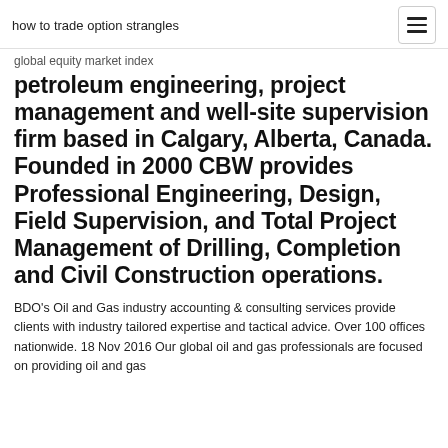how to trade option strangles
global equity market index
petroleum engineering, project management and well-site supervision firm based in Calgary, Alberta, Canada. Founded in 2000 CBW provides Professional Engineering, Design, Field Supervision, and Total Project Management of Drilling, Completion and Civil Construction operations.
BDO's Oil and Gas industry accounting & consulting services provide clients with industry tailored expertise and tactical advice. Over 100 offices nationwide. 18 Nov 2016 Our global oil and gas professionals are focused on providing oil and gas